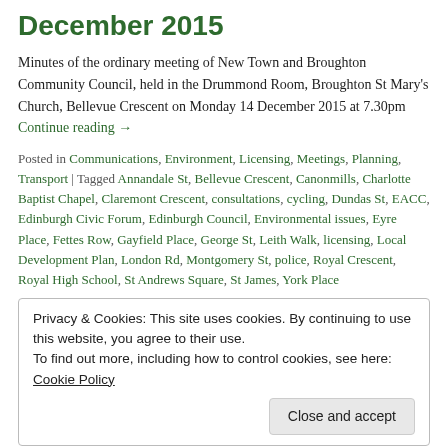December 2015
Minutes of the ordinary meeting of New Town and Broughton Community Council, held in the Drummond Room, Broughton St Mary's Church, Bellevue Crescent on Monday 14 December 2015 at 7.30pm Continue reading →
Posted in Communications, Environment, Licensing, Meetings, Planning, Transport | Tagged Annandale St, Bellevue Crescent, Canonmills, Charlotte Baptist Chapel, Claremont Crescent, consultations, cycling, Dundas St, EACC, Edinburgh Civic Forum, Edinburgh Council, Environmental issues, Eyre Place, Fettes Row, Gayfield Place, George St, Leith Walk, licensing, Local Development Plan, London Rd, Montgomery St, police, Royal Crescent, Royal High School, St Andrews Square, St James, York Place
Privacy & Cookies: This site uses cookies. By continuing to use this website, you agree to their use. To find out more, including how to control cookies, see here: Cookie Policy
Close and accept
Minutes of the ordinary meeting of New Town and Broughton